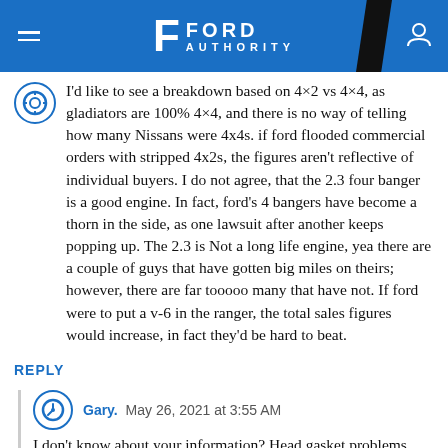Ford Authority
I'd like to see a breakdown based on 4×2 vs 4×4, as gladiators are 100% 4×4, and there is no way of telling how many Nissans were 4x4s. if ford flooded commercial orders with stripped 4x2s, the figures aren't reflective of individual buyers. I do not agree, that the 2.3 four banger is a good engine. In fact, ford's 4 bangers have become a thorn in the side, as one lawsuit after another keeps popping up. The 2.3 is Not a long life engine, yea there are a couple of guys that have gotten big miles on theirs; however, there are far tooooo many that have not. If ford were to put a v-6 in the ranger, the total sales figures would increase, in fact they'd be hard to beat.
REPLY
Gary. May 26, 2021 at 3:55 AM
I don't know about your information? Head gasket problems were solved with the higher output 2.3s. Carbon built up which could be problems about 100,000 miles is a